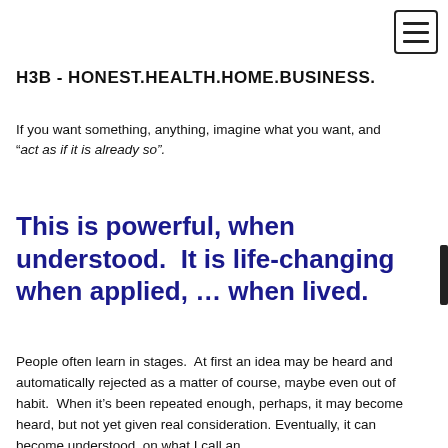[Figure (other): Hamburger menu icon — three horizontal lines inside a rounded rectangle border]
H3B - HONEST.HEALTH.HOME.BUSINESS.
If you want something, anything, imagine what you want, and “act as if it is already so”.
This is powerful, when understood.  It is life-changing when applied, ... when lived.
People often learn in stages.  At first an idea may be heard and automatically rejected as a matter of course, maybe even out of habit.  When it’s been repeated enough, perhaps, it may become heard, but not yet given real consideration. Eventually, it can become understood, on what I call an